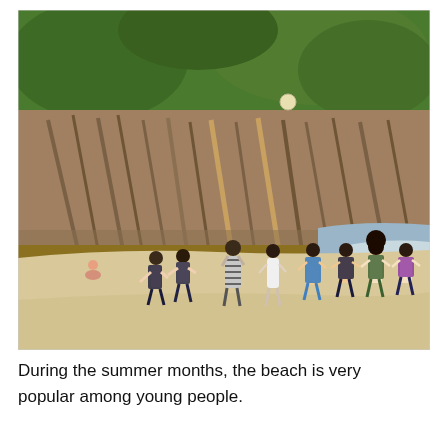[Figure (photo): A beach scene with a group of young people playing on sandy shore. Behind them are dramatic layered rock formations covered with green vegetation at the top. The sea is visible to the right. A small child sits in the sand on the left. A ball is visible in the air near the top center.]
During the summer months, the beach is very popular among young people.